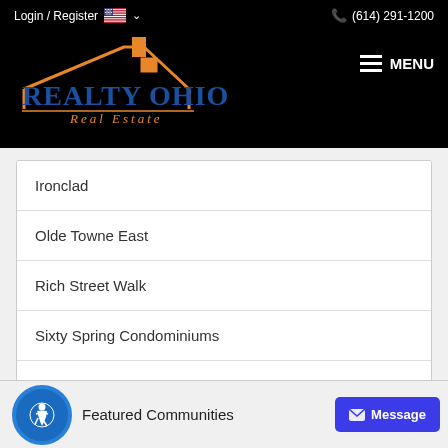Login / Register  (614) 291-1200  MENU
[Figure (logo): Realty Ohio Real Estate logo with orange house icon and blue text]
Ironclad
Olde Towne East
Rich Street Walk
Sixty Spring Condominiums
Browse All Condo Buildings
Featured Communities